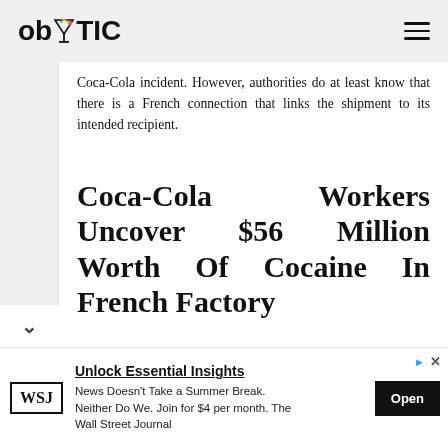ob TIC (logo with martini glass)
Coca-Cola incident. However, authorities do at least know that there is a French connection that links the shipment to its intended recipient.
Coca-Cola Workers Uncover $56 Million Worth Of Cocaine In French Factory
[Figure (other): Advertisement bar: WSJ logo, headline 'Unlock Essential Insights', body text 'News Doesn’t Take a Summer Break. Neither Do We. Join for $4 per month. The Wall Street Journal', and an 'Open' button.]